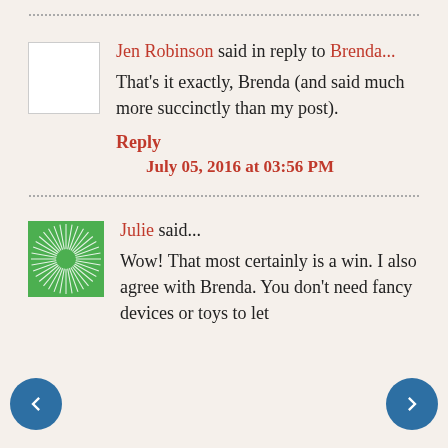...............................................................
[Figure (photo): Blank white avatar placeholder box with grey border]
Jen Robinson said in reply to Brenda...
That's it exactly, Brenda (and said much more succinctly than my post).
Reply
July 05, 2016 at 03:56 PM
...............................................................
[Figure (illustration): Green square avatar with white sunburst/radial line pattern]
Julie said...
Wow! That most certainly is a win. I also agree with Brenda. You don't need fancy devices or toys to let